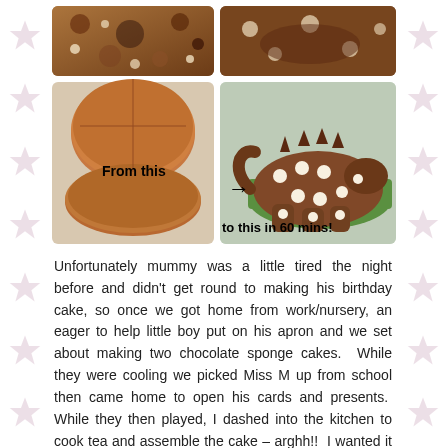[Figure (photo): Photo collage showing cake transformation: top row has two close-up photos of decorated cakes with polka dots/chocolate; bottom left shows two round chocolate sponge cakes with text 'From this'; bottom right shows finished dinosaur-shaped cake decorated with green and chocolate frosting with white spots and text 'to this in 60 mins!']
Unfortunately mummy was a little tired the night before and didn't get round to making his birthday cake, so once we got home from work/nursery, an eager to help little boy put on his apron and we set about making two chocolate sponge cakes.  While they were cooling we picked Miss M up from school then came home to open his cards and presents.  While they then played, I dashed into the kitchen to cook tea and assemble the cake – arghh!!  I wanted it to be ready for after dinner but time was against me and I didn't have much of a plan of how to construct my cake.  I whizzed up some chocolate buttercream in the